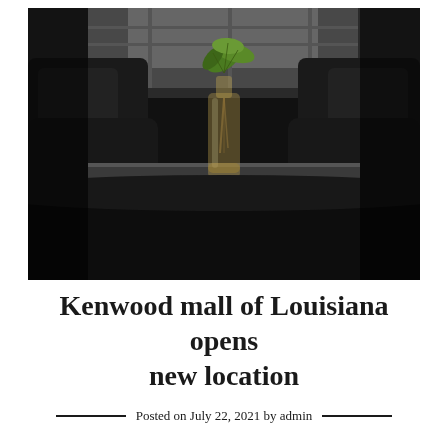[Figure (photo): Dark moody interior of a cafe or lounge: black chairs and furniture visible in low light, with a clear glass bottle containing a green plant/cutting placed on a reflective table surface in the center, lit from behind by a window.]
Kenwood mall of Louisiana opens new location
Posted on July 22, 2021 by admin